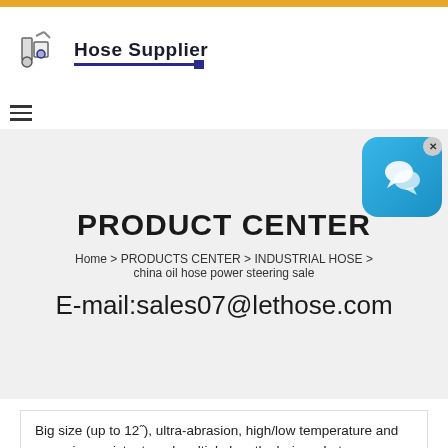Hose Supplier
PRODUCT CENTER
Home > PRODUCTS CENTER > INDUSTRIAL HOSE > china oil hose power steering sale
E-mail:sales07@lethose.com
Big size (up to 12"), ultra-abrasion, high/low temperature and corrosion resistant, and multiple length choices, Letone